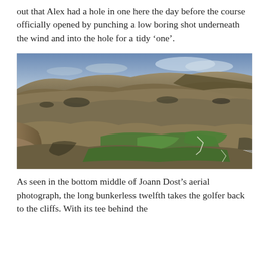out that Alex had a hole in one here the day before the course officially opened by punching a low boring shot underneath the wind and into the hole for a tidy ‘one’.
[Figure (photo): Aerial photograph of a rugged coastal golf course landscape showing rolling hills, cliffs, brown scrubland, patches of green fairways, and the sea visible in the upper background under a cloudy sky. A long hole is visible in the green valley area in the lower middle of the image.]
As seen in the bottom middle of Joann Dost’s aerial photograph, the long bunkerless twelfth takes the golfer back to the cliffs. With its tee behind the